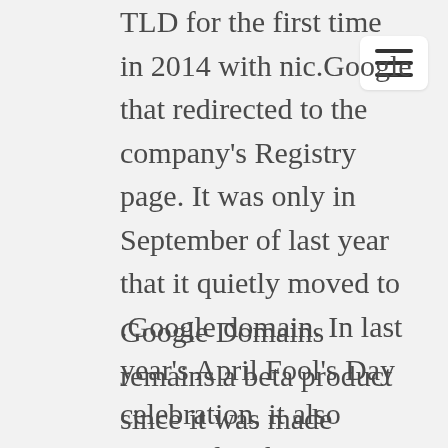TLD for the first time in 2014 with nic.Google that redirected to the company's Registry page. It was only in September of last year that it quietly moved to .Google domain. In last year's April Fool's Day celebration, it also reversed its homepage and URL for one day to com.Google.
Google Domains remains a beta product since it was made available to everyone in the US in January of last year. The move to have it hosted on its very own .Google domain is seen as a step leading to Google becoming a TLD registrar. It is also seen as an evolution for the Google